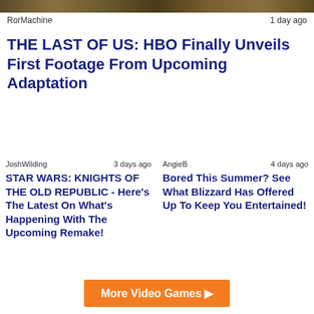[Figure (photo): Top banner image with brown/golden tones]
RorMachine      1 day ago
THE LAST OF US: HBO Finally Unveils First Footage From Upcoming Adaptation
JoshWilding      3 days ago
STAR WARS: KNIGHTS OF THE OLD REPUBLIC - Here's The Latest On What's Happening With The Upcoming Remake!
AngieB      4 days ago
Bored This Summer? See What Blizzard Has Offered Up To Keep You Entertained!
More Video Games ▶